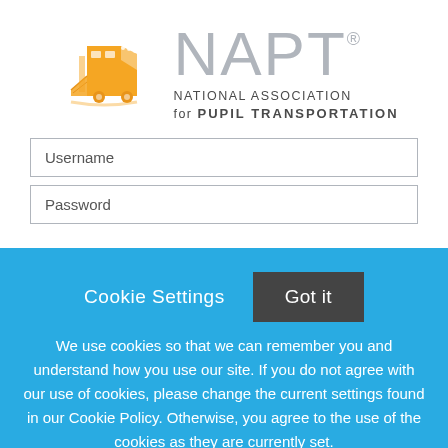[Figure (logo): NAPT National Association for Pupil Transportation logo with orange school bus graphic and gray NAPT text]
Username
Password
Cookie Settings
Got it
We use cookies so that we can remember you and understand how you use our site. If you do not agree with our use of cookies, please change the current settings found in our Cookie Policy. Otherwise, you agree to the use of the cookies as they are currently set.